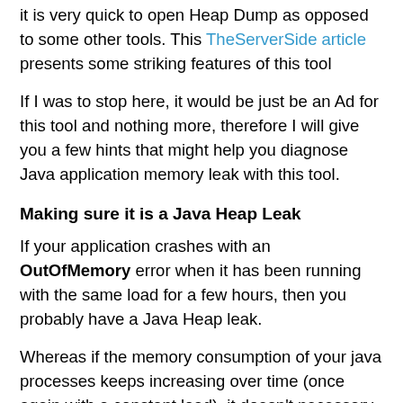it is very quick to open Heap Dump as opposed to some other tools. This TheServerSide article presents some striking features of this tool
If I was to stop here, it would be just be an Ad for this tool and nothing more, therefore I will give you a few hints that might help you diagnose Java application memory leak with this tool.
Making sure it is a Java Heap Leak
If your application crashes with an OutOfMemory error when it has been running with the same load for a few hours, then you probably have a Java Heap leak.
Whereas if the memory consumption of your java processes keeps increasing over time (once again with a constant load), it doesn't necessary means that the Java Heap is leaking, indeed it might just be some JNI objects that you are using that are leaking (To put in a nutshell, the native heap is the heap used by your JVMs processes, it contains the Java Heap where the Java objects resides whereas non java object such as JNI objects resides in the remaining part of